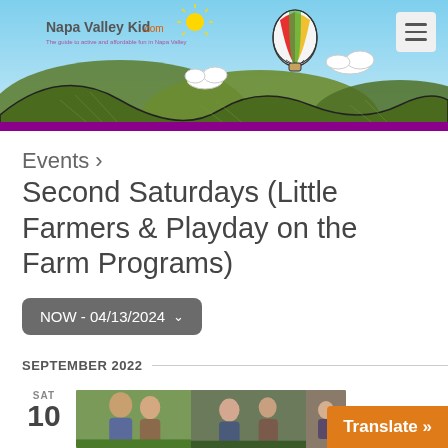[Figure (illustration): NapaValleyKid.com website header banner with logo (text 'Napa Valley Kid.com' with hot air balloon illustration, sun, clouds), illustrated rolling green hills/mountains, blue sky background, and hamburger menu button in top right]
Events ›
Second Saturdays (Little Farmers & Playday on the Farm Programs)
NOW - 04/13/2024 ∨
SEPTEMBER 2022
SAT
10
[Figure (photo): Three event photos shown side by side: family/people photos for a farm event]
Translate »